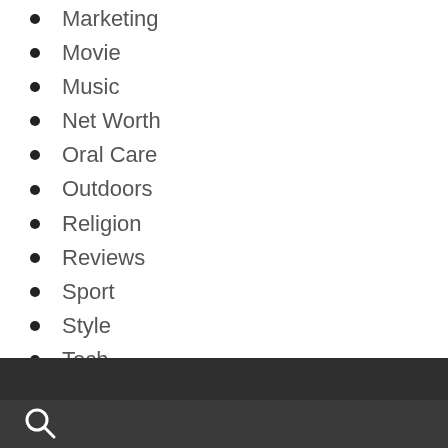Marketing
Movie
Music
Net Worth
Oral Care
Outdoors
Religion
Reviews
Sport
Style
Tech
Tips
Travel
Uncategorized
Wedding
Women's Care